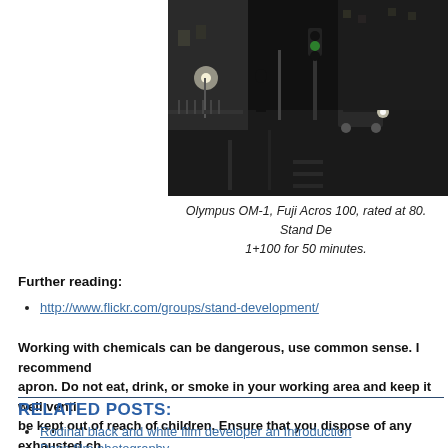[Figure (photo): Black and white night street photography showing a person standing on a city street with cars, traffic lights, and illuminated storefronts in the background.]
Olympus OM-1, Fuji Acros 100, rated at 80. Stand De... 1+100 for 50 minutes.
Further reading:
http://www.flickr.com/groups/stand-development/
Working with chemicals can be dangerous, use common sense. I recommend... apron. Do not eat, drink, or smoke in your working area and keep it well venti... be kept out of reach of children. Ensure that you dispose of any exhausted ch...
RELATED POSTS:
Rodinal black and white film developer an Introduction
Paris film photography
Redscale film an introduction